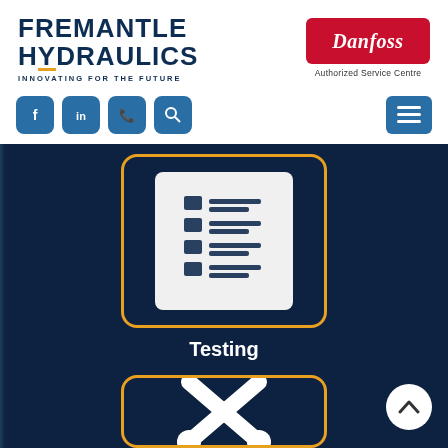[Figure (logo): Fremantle Hydraulics logo with tagline INNOVATING FOR THE FUTURE and Danfoss Authorized Service Centre logo]
[Figure (screenshot): Navigation bar with social media icons (Facebook, LinkedIn, Phone, Search) and hamburger menu button]
[Figure (illustration): Dark navy background section with a Testing card (checklist icon in rounded rectangle with gold border) labeled Testing, and a second card with tools/cross icon partially visible at bottom]
Testing